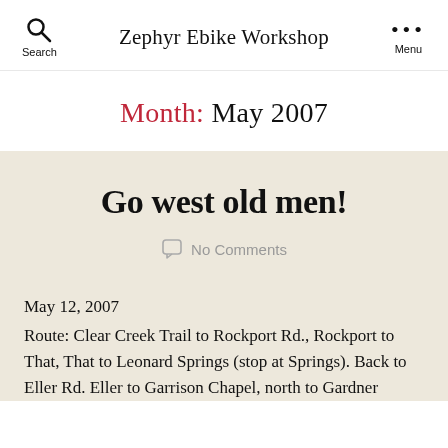Zephyr Ebike Workshop
Month: May 2007
Go west old men!
No Comments
May 12, 2007
Route: Clear Creek Trail to Rockport Rd., Rockport to That, That to Leonard Springs (stop at Springs). Back to Eller Rd. Eller to Garrison Chapel, north to Gardner